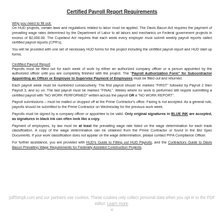Certified Payroll Report Requirements
Why you need to fill out:
On HUD projects, certain laws and regulations related to labor must be applied. The Davis Bacon Act requires the payment of prevailing wage rates determined by the Department of Labor to all labors and mechanics on Federal government projects in excess of $2,000.00. The Copeland Act requires that each week every employer must submit weekly payroll reports called certified payroll reports (CPR's).
You will be provided with one set of necessary HUD forms for the project including the certified payroll report and HUD start up forms.
Certified Payroll Report
Payrolls must be filled out for each week of work by either an authorized company officer or a person appointed by the authorized officer until you are completely finished with the project. The "Payroll Authorization Form" for Subcontractor Appointing an Officer or Employee to Supervise Payment of Employees must be filled out and returned.
Each payroll week must be numbered consecutively. The first payroll should be marked "FIRST" followed by Payroll 2 then Payroll 3, and so on. The last payroll must be marked "FINAL". Weeks where no work is performed still require submitting a certified payroll with "NO WORK PERFORMED" written across the payroll OR a "NO WORK REPORT".
Payroll submissions – must be mailed or dropped off at the Prime Contractor's office. Faxing is not accepted. As a general rule, payrolls should be submitted to the Prime Contractor on Wednesday for the previous work week.
Payrolls must be signed by a company officer or appointee to be valid. Only original signatures in BLUE INK are accepted, as signatures in black ink can often look like a copy.
Payment of employees, by law must be at least the prevailing wage rate listed on the wage determination for each trade classification. A copy of the wage determination can be obtained from the Prime Contractor or found in the Bid Spec Documents. If your work classification does not appear on the wage determination, please contact PrFA Compliance Officer.
For further assistance, you are provided with HUD's Guide to Filling out HUD Payrolls, and the Contractors Guide to Davis Bacon Prevailing Wage Requirements for Federally Assisted Construction Projects.